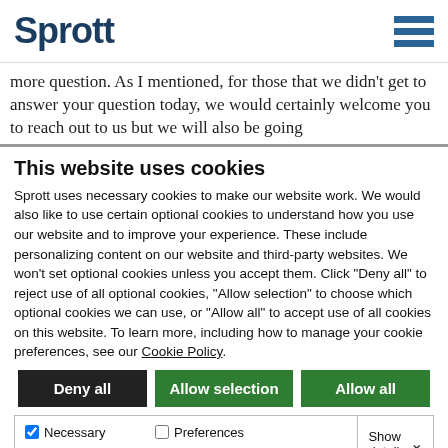Sprott
more question. As I mentioned, for those that we didn't get to answer your question today, we would certainly welcome you to reach out to us but we will also be going
This website uses cookies
Sprott uses necessary cookies to make our website work. We would also like to use certain optional cookies to understand how you use our website and to improve your experience. These include personalizing content on our website and third-party websites. We won't set optional cookies unless you accept them. Click "Deny all" to reject use of all optional cookies, "Allow selection" to choose which optional cookies we can use, or "Allow all" to accept use of all cookies on this website. To learn more, including how to manage your cookie preferences, see our Cookie Policy.
Deny all | Allow selection | Allow all
Necessary | Preferences | Statistics | Marketing | Show details